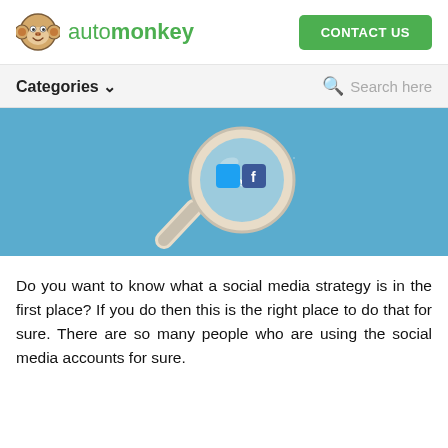automonkey | CONTACT US
Categories ∨   Search here
[Figure (illustration): A magnifying glass illustration with Twitter and Facebook icons inside the lens, on a blue background.]
Do you want to know what a social media strategy is in the first place? If you do then this is the right place to do that for sure. There are so many people who are using the social media accounts for sure.